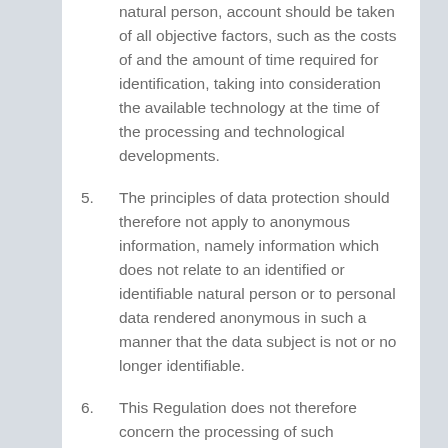natural person, account should be taken of all objective factors, such as the costs of and the amount of time required for identification, taking into consideration the available technology at the time of the processing and technological developments.
5. The principles of data protection should therefore not apply to anonymous information, namely information which does not relate to an identified or identifiable natural person or to personal data rendered anonymous in such a manner that the data subject is not or no longer identifiable.
6. This Regulation does not therefore concern the processing of such anonymous information, including for statistical or research purposes.